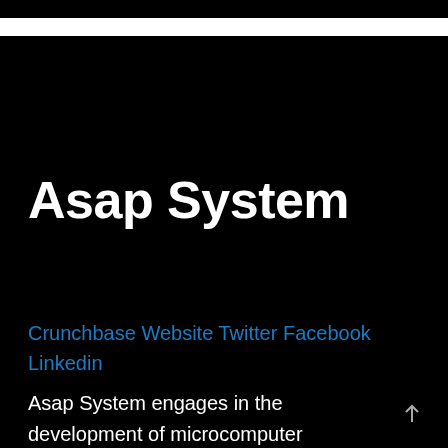Asap System
Crunchbase Website Twitter Facebook Linkedin
Asap System engages in the development of microcomputer application device and wireless peripheral device